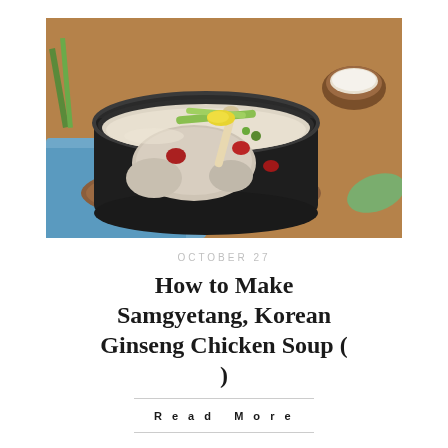[Figure (photo): A black stone pot (dolsot) filled with Korean ginseng chicken soup (samgyetang), containing a whole small chicken, ginseng root, jujubes (red dates), green onions, and garnished with yellow and green toppings. The pot sits on a wooden board with a blue cloth napkin. In the background, a small wooden bowl of white powder (salt/flour) is visible, along with green leaves.]
OCTOBER 27
How to Make Samgyetang, Korean Ginseng Chicken Soup ( )
Read More